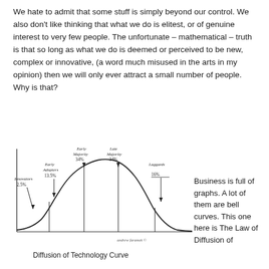We hate to admit that some stuff is simply beyond our control. We also don't like thinking that what we do is elitest, or of genuine interest to very few people. The unfortunate – mathematical – truth is that so long as what we do is deemed or perceived to be new, complex or innovative, (a word much misused in the arts in my opinion) then we will only ever attract a small number of people. Why is that?
[Figure (continuous-plot): Hand-drawn bell curve (Diffusion of Technology Curve) showing segments: Innovators 2.5%, Early Adopters 13.5%, Early Majority 34%, Late Majority 34%, Laggards 16%. Arrows point to each segment on the curve. Watermark: 'andrew faramek ©']
Diffusion of Technology Curve
Business is full of graphs. A lot of them are bell curves. This one here is The Law of Diffusion of